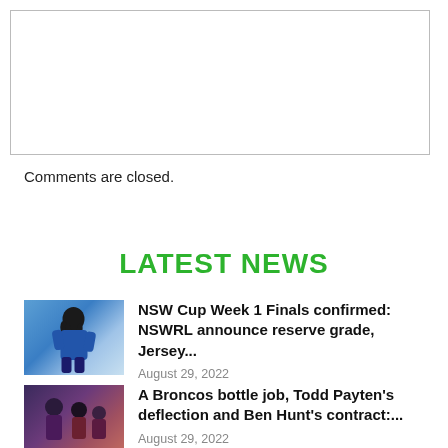[Figure (other): Empty comment input box with gray border]
Comments are closed.
LATEST NEWS
[Figure (photo): Rugby league player in blue Canterbury Bulldogs jersey against blurred stadium background]
NSW Cup Week 1 Finals confirmed: NSWRL announce reserve grade, Jersey...
August 29, 2022
[Figure (photo): Brisbane Broncos coaching staff on sideline with maroon and yellow jerseys]
A Broncos bottle job, Todd Payten's deflection and Ben Hunt's contract:...
August 29, 2022